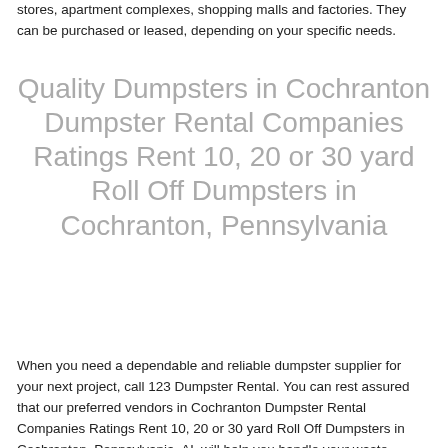stores, apartment complexes, shopping malls and factories. They can be purchased or leased, depending on your specific needs.
Quality Dumpsters in Cochranton Dumpster Rental Companies Ratings Rent 10, 20 or 30 yard Roll Off Dumpsters in Cochranton, Pennsylvania
When you need a dependable and reliable dumpster supplier for your next project, call 123 Dumpster Rental. You can rest assured that our preferred vendors in Cochranton Dumpster Rental Companies Ratings Rent 10, 20 or 30 yard Roll Off Dumpsters in Cochranton, Pennsylvania, AL will help you handle your waste removal, no matter if it is